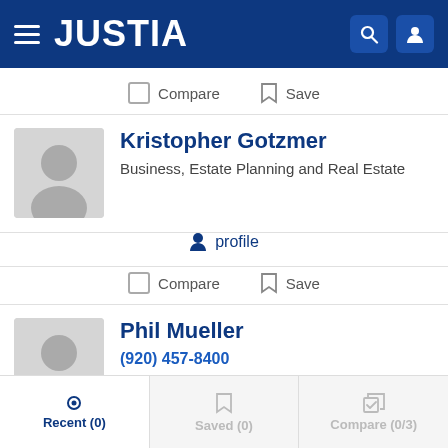JUSTIA
Compare  Save
Kristopher Gotzmer
Business, Estate Planning and Real Estate
profile
Compare  Save
Phil Mueller
(920) 457-8400
Business, Estate Planning and Tax
Recent (0)   Saved (0)   Compare (0/3)